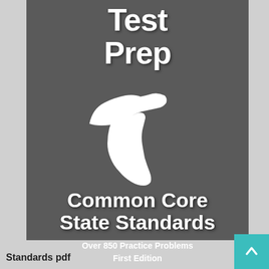[Figure (illustration): Book cover for Math Test Prep Common Core State Standards with Michigan state map silhouette on dark gray background]
Math Test Prep
Common Core State Standards
Over 850 Practice Problems
First Edition
Standards pdf